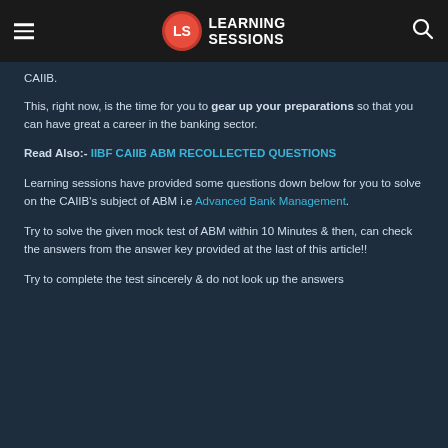[Figure (logo): Learning Sessions logo with hamburger menu and search icon in dark header bar]
CAIIB.
This, right now, is the time for you to gear up your preparations so that you can have great a career in the banking sector.
Read Also:- IIBF CAIIB ABM RECOLLECTED QUESTIONS
Learning sessions have provided some questions down below for you to solve on the CAIIB's subject of ABM i.e Advanced Bank Management.
Try to solve the given mock test of ABM within 10 Minutes & then, can check the answers from the answer key provided at the last of this article!!
Try to complete the test sincerely & do not look up the answers